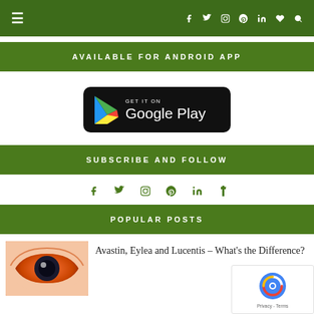Navigation bar with menu and social icons
AVAILABLE FOR ANDROID APP
[Figure (logo): Get it on Google Play badge — black rounded rectangle with the Google Play triangle logo and text 'GET IT ON Google Play']
SUBSCRIBE AND FOLLOW
Social media icons: facebook, twitter, instagram, pinterest, linkedin, tumblr
POPULAR POSTS
[Figure (photo): Close-up photo of a human eye with colorful lighting]
Avastin, Eylea and Lucentis – What's the Difference?